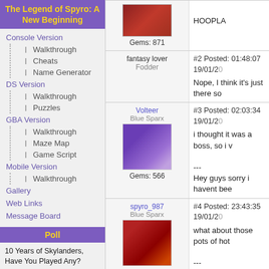The Legend of Spyro: A New Beginning
Console Version
Walkthrough
Cheats
Name Generator
DS Version
Walkthrough
Puzzles
GBA Version
Walkthrough
Maze Map
Game Script
Mobile Version
Walkthrough
Gallery
Web Links
Message Board
Poll
10 Years of Skylanders, Have You Played Any?
Yes, every game!
Yes, most games
HOOPLA
Gems: 871
#2 Posted: 01:48:07 19/01/2
Nope, I think it's just there so
fantasy lover
Fodder
Volteer
Blue Sparx
Gems: 566
#3 Posted: 02:03:34 19/01/20
i thought it was a boss, so i v
---
Hey guys sorry i havent bee
spyro_987
Blue Sparx
Gems: 871
#4 Posted: 23:43:35 19/01/20
what about those pots of hot
---
HOOPLA
Volteer
Blue Sparx
#5 Posted: 00:34:33 20/01/20
dnt jump inthem, thye burn y of the time in the lvel you ca look neat, dontcha think?